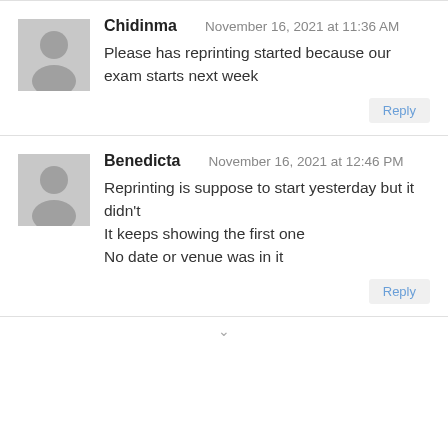Chidinma — November 16, 2021 at 11:36 AM
Please has reprinting started because our exam starts next week
Benedicta — November 16, 2021 at 12:46 PM
Reprinting is suppose to start yesterday but it didn't
It keeps showing the first one
No date or venue was in it